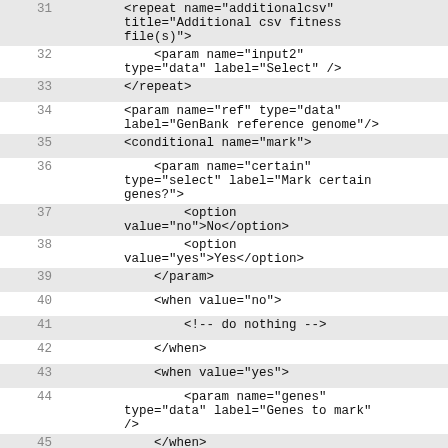31  <repeat name="additionalcsv" title="Additional csv fitness file(s)">
32      <param name="input2" type="data" label="Select" />
33      </repeat>
34      <param name="ref" type="data" label="GenBank reference genome"/>
35      <conditional name="mark">
36          <param name="certain" type="select" label="Mark certain genes?">
37              <option value="no">No</option>
38              <option value="yes">Yes</option>
39          </param>
40          <when value="no">
41              <!-- do nothing -->
42          </when>
43          <when value="yes">
44              <param name="genes" type="data" label="Genes to mark" />
45          </when>
46      </conditional>
47      <conditional name="weighted">
48          <param name="algorithms" type="select" label="Use weighted algorithms?">